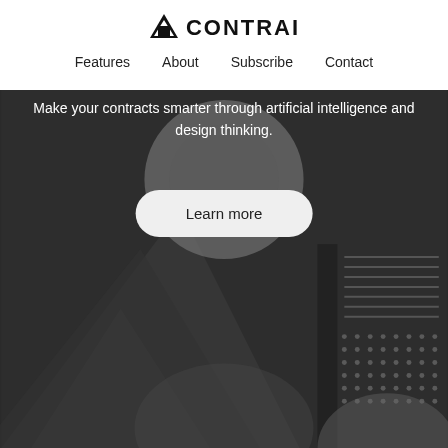CONTRAI
Features   About   Subscribe   Contact
Make your contracts smarter through artificial intelligence and design thinking.
[Figure (illustration): Abstract dark geometric background with overlapping triangles, circles, and shapes in dark grey tones, plus a dot-grid pattern and horizontal lines on the right side.]
Learn more